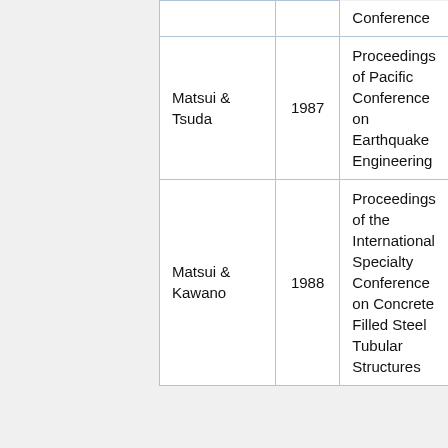|  | Author | Year | Source |
| --- | --- | --- | --- |
|  |  |  | Conference |
|  | Matsui & Tsuda | 1987 | Proceedings of Pacific Conference on Earthquake Engineering |
|  | Matsui & Kawano | 1988 | Proceedings of the International Specialty Conference on Concrete Filled Steel Tubular Structures |